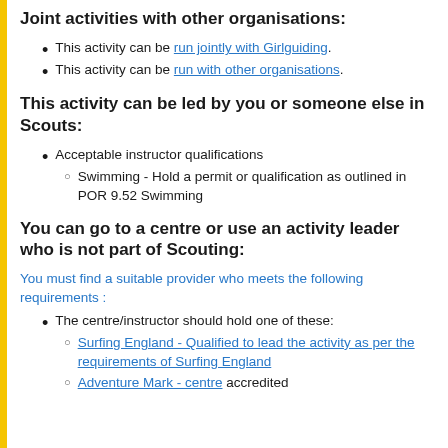Joint activities with other organisations:
This activity can be run jointly with Girlguiding.
This activity can be run with other organisations.
This activity can be led by you or someone else in Scouts:
Acceptable instructor qualifications
Swimming - Hold a permit or qualification as outlined in POR 9.52 Swimming
You can go to a centre or use an activity leader who is not part of Scouting:
You must find a suitable provider who meets the following requirements :
The centre/instructor should hold one of these:
Surfing England - Qualified to lead the activity as per the requirements of Surfing England
Adventure Mark - centre accredited